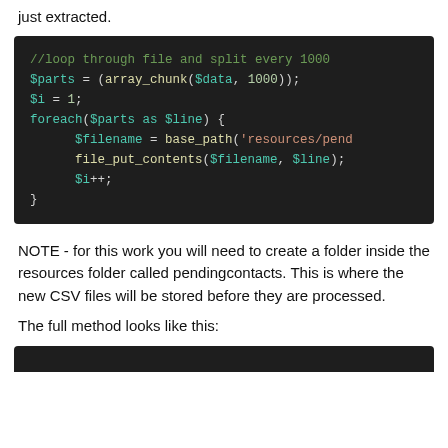just extracted.
[Figure (screenshot): Dark-themed code block showing PHP code: //loop through file and split every 1000, $parts = (array_chunk($data, 1000));, $i = 1;, foreach($parts as $line) {, $filename = base_path('resources/pend..., file_put_contents($filename, $line);, $i++;, }]
NOTE - for this work you will need to create a folder inside the resources folder called pendingcontacts. This is where the new CSV files will be stored before they are processed.
The full method looks like this:
[Figure (screenshot): Start of another dark-themed code block (cut off at bottom of page)]